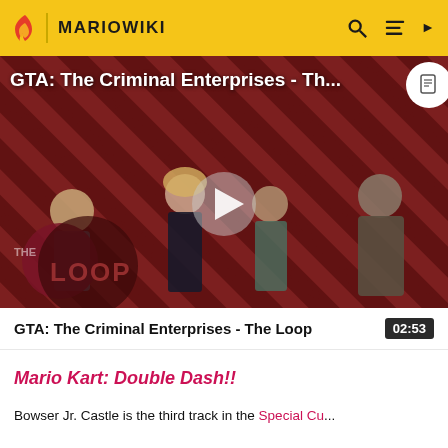MARIOWIKI
[Figure (screenshot): Video thumbnail for 'GTA: The Criminal Enterprises - The Loop' showing game characters on a red diagonal stripe background with a play button and 'THE LOOP' badge overlay]
GTA: The Criminal Enterprises - The Loop   02:53
Mario Kart: Double Dash!!
Bowser Jr. Castle is the third track in the Special Cu...